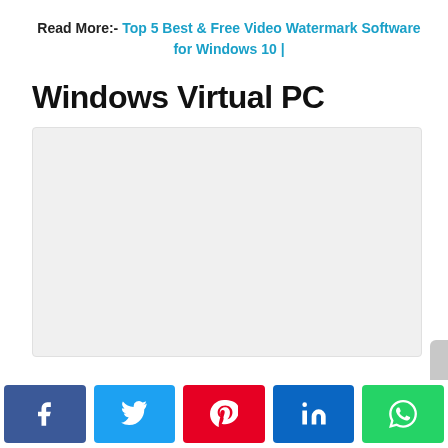Read More:- Top 5 Best & Free Video Watermark Software for Windows 10 |
Windows Virtual PC
[Figure (other): Blank/loading image placeholder for Windows Virtual PC screenshot]
[Figure (infographic): Social sharing buttons: Facebook, Twitter, Pinterest, LinkedIn, WhatsApp]